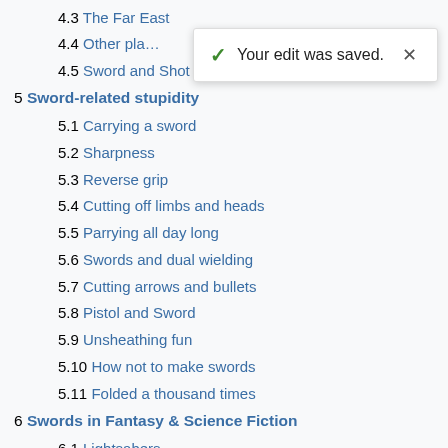4.3 The Far East
4.4 Other pla[ces]
4.5 Sword and Shot
[Figure (screenshot): Toast notification popup: checkmark icon, 'Your edit was saved.' text, and X close button]
5 Sword-related stupidity
5.1 Carrying a sword
5.2 Sharpness
5.3 Reverse grip
5.4 Cutting off limbs and heads
5.5 Parrying all day long
5.6 Swords and dual wielding
5.7 Cutting arrows and bullets
5.8 Pistol and Sword
5.9 Unsheathing fun
5.10 How not to make swords
5.11 Folded a thousand times
6 Swords in Fantasy & Science Fiction
6.1 Lightsabers
6.2 Busters
6.3 Gunblades/Pistol Swords
6.4 Oscillating blades